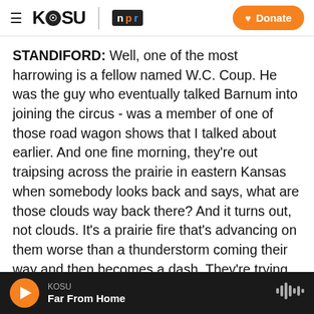KOSU | NPR — Donate
STANDIFORD: Well, one of the most harrowing is a fellow named W.C. Coup. He was the guy who eventually talked Barnum into joining the circus - was a member of one of those road wagon shows that I talked about earlier. And one fine morning, they're out traipsing across the prairie in eastern Kansas when somebody looks back and says, what are those clouds way back there? And it turns out, not clouds. It's a prairie fire that's advancing on them worse than a thunderstorm coming their way and then becomes a dash. They're trying to get elephants and giraffes to run fast, to make it to the
KOSU | Far From Home